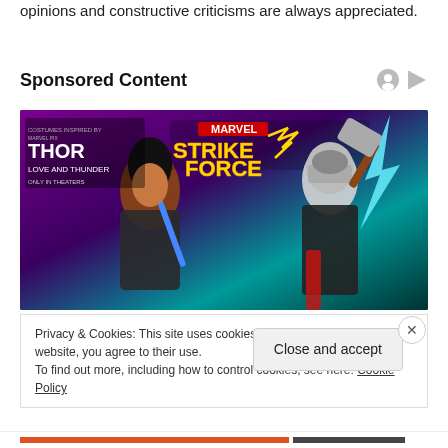opinions and constructive criticisms are always appreciated.
Sponsored Content
[Figure (illustration): Marvel Strike Force advertisement image showing two game characters: a dark-skinned female warrior with a blue sword on the left, and a female Thor character wielding a hammer with lightning on the right. The Marvel Strike Force logo appears in yellow at the top center. Text on the left reads 'COSTUMES INSPIRED BY MARVEL PIXE | THOR | LOVE AND THUNDER | ONLY IN THEATERS'.]
Privacy & Cookies: This site uses cookies. By continuing to use this website, you agree to their use.
To find out more, including how to control cookies, see here: Cookie Policy
Close and accept